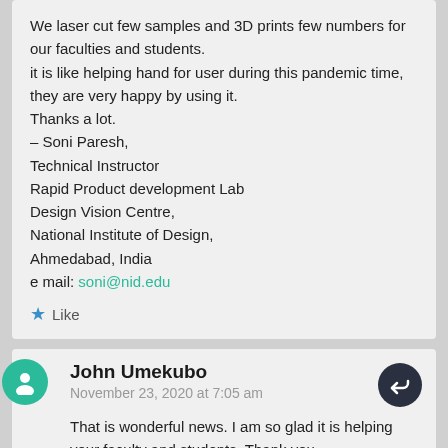We laser cut few samples and 3D prints few numbers for our faculties and students. it is like helping hand for user during this pandemic time, they are very happy by using it. Thanks a lot.
– Soni Paresh,
Technical Instructor
Rapid Product development Lab
Design Vision Centre,
National Institute of Design,
Ahmedabad, India
e mail: soni@nid.edu
★ Like
John Umekubo
November 23, 2020 at 7:05 am
That is wonderful news. I am so glad it is helping your faculty and students. Thank you